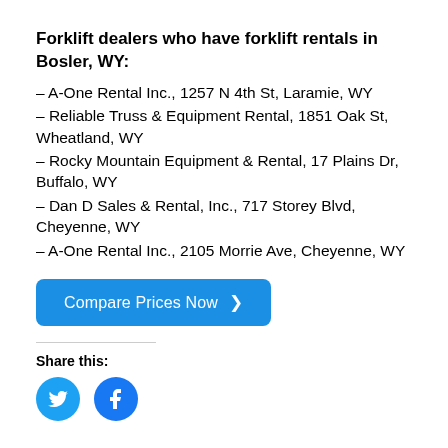Forklift dealers who have forklift rentals in Bosler, WY:
– A-One Rental Inc., 1257 N 4th St, Laramie, WY
– Reliable Truss & Equipment Rental, 1851 Oak St, Wheatland, WY
– Rocky Mountain Equipment & Rental, 17 Plains Dr, Buffalo, WY
– Dan D Sales & Rental, Inc., 717 Storey Blvd, Cheyenne, WY
– A-One Rental Inc., 2105 Morrie Ave, Cheyenne, WY
[Figure (other): Blue rounded button with text 'Compare Prices Now >']
Share this:
[Figure (other): Twitter and Facebook share icon circles in blue]